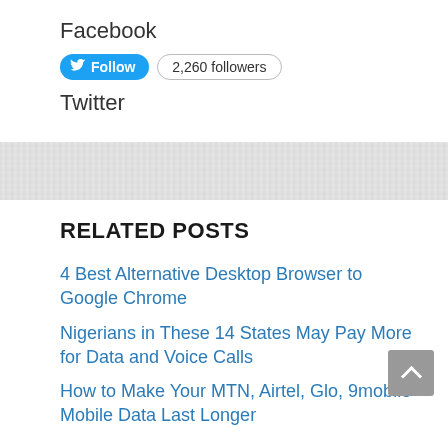Facebook
[Figure (other): Twitter Follow button with bird icon and '2,260 followers' badge]
Twitter
[Figure (other): Gray textured divider band]
RELATED POSTS
4 Best Alternative Desktop Browser to Google Chrome
Nigerians in These 14 States May Pay More for Data and Voice Calls
How to Make Your MTN, Airtel, Glo, 9mobile Mobile Data Last Longer